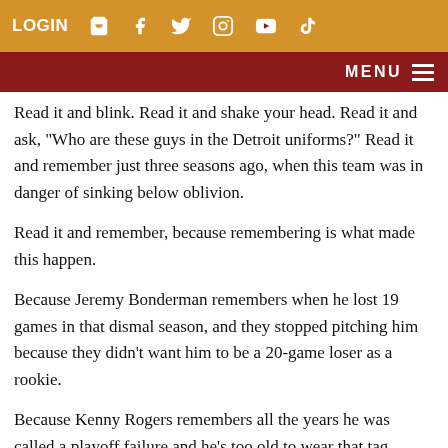LOGIN
MENU
Read it and blink. Read it and shake your head. Read it and ask, “Who are these guys in the Detroit uniforms?” Read it and remember just three seasons ago, when this team was in danger of sinking below oblivion.
Read it and remember, because remembering is what made this happen.
Because Jeremy Bonderman remembers when he lost 19 games in that dismal season, and they stopped pitching him because they didn't want him to be a 20-game loser as a rookie.
Because Kenny Rogers remembers all the years he was called a playoff failure and he's too old to wear that tag anymore.